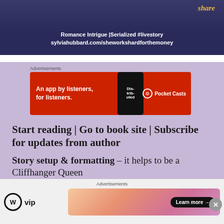[Figure (screenshot): Top banner with dark navy background showing romance novel promotional content. Text reads: 'Romance Intrigue | Serialized #livestory sylviahubbard.com/sheworkshardforthemoney'. Gold script text 'share' in top right.]
Advertisements
[Figure (screenshot): Red advertisement banner for Pocket Casts podcast app. Text: 'An app by listeners, for listeners.' with Pocket Casts logo on right and phone showing 'Distributed' podcast in center.]
Start reading | Go to book site | Subscribe for updates from author
Story setup & formatting – it helps to be a Cliffhanger Queen
Since I have history and have practiced writing
Advertisements
[Figure (screenshot): Bottom advertisement bar with WordPress VIP logo on left and gradient pink/orange banner with 'Learn more →' button on right.]